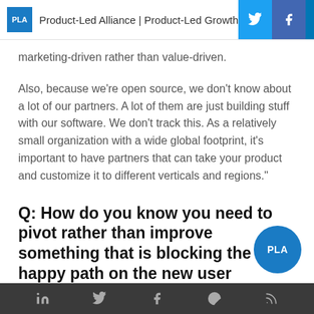PLA  Product-Led Alliance | Product-Led Growth
marketing-driven rather than value-driven.
Also, because we're open source, we don't know about a lot of our partners. A lot of them are just building stuff with our software. We don't track this. As a relatively small organization with a wide global footprint, it's important to have partners that can take your product and customize it to different verticals and regions."
Q: How do you know you need to pivot rather than improve something that is blocking the happy path on the new user
Social icons: LinkedIn, Twitter, Facebook, Slack, RSS